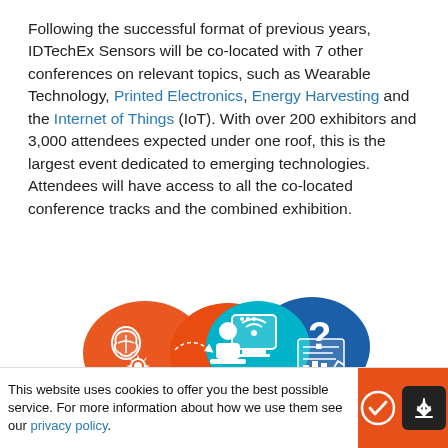Following the successful format of previous years, IDTechEx Sensors will be co-located with 7 other conferences on relevant topics, such as Wearable Technology, Printed Electronics, Energy Harvesting and the Internet of Things (IoT). With over 200 exhibitors and 3,000 attendees expected under one roof, this is the largest event dedicated to emerging technologies. Attendees will have access to all the co-located conference tracks and the combined exhibition.
[Figure (illustration): Colorful speech bubble icons with technology symbols including a brain, gear, person at podium, computer monitor with chat bubbles, and a question mark with data chart, representing technology conference topics.]
This website uses cookies to offer you the best possible service. For more information about how we use them see our privacy policy.